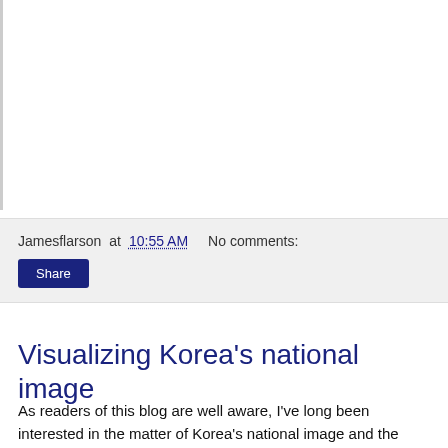[Figure (other): White empty image area with left gray border, likely a cropped embedded image placeholder]
Jamesflarson at 10:55 AM   No comments:
Share
Visualizing Korea's national image
As readers of this blog are well aware, I've long been interested in the matter of Korea's national image and the effects of the Korean government to deal with it. To at i